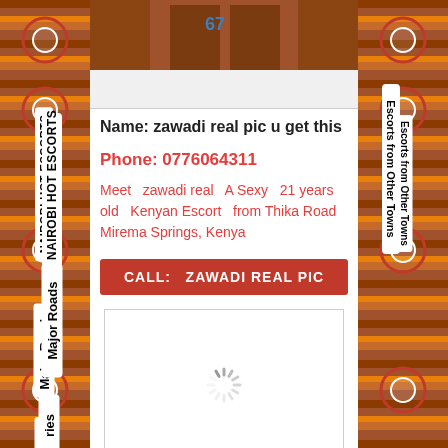[Figure (photo): Top partial image showing dark/brown tones, cropped body photo]
Name: zawadi real pic u get this
Phone: 0776064311
Meet  zawadi real  A Sexy  21 years old  Kenyan Escort  from Thika Road Mirema Springs, Kenya
CALL:  ZAWADI REAL PIC
[Figure (photo): Loading spinner / second image loading area]
NAIROBI HOT ESCORTS
Major Roads
ries
Escorts from Other Towns